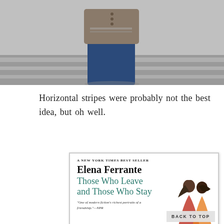[Figure (photo): Partial photo of a person standing outdoors, wearing a striped sweater/cardigan and dark jeans, cropped to show torso and legs only, on what appears to be a road or parking lot]
Horizontal stripes were probably not the best idea, but oh well.
[Figure (photo): Book cover for 'Those Who Leave and Those Who Stay' by Elena Ferrante, a New York Times Best Seller. Subtitle reads 'A New York Times Best Seller'. Blurb: 'One of modern fiction's richest portraits of a friendship.' —NPR. Cover shows two women with dark hair facing away from viewer.]
BACK TO TOP